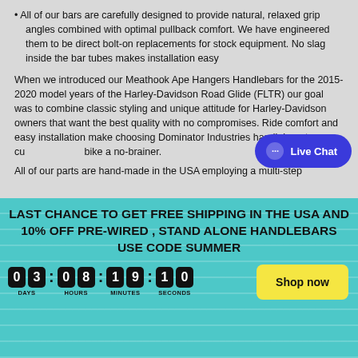All of our bars are carefully designed to provide natural, relaxed grip angles combined with optimal pullback comfort. We have engineered them to be direct bolt-on replacements for stock equipment. No slag inside the bar tubes makes installation easy
When we introduced our Meathook Ape Hangers Handlebars for the 2015-2020 model years of the Harley-Davidson Road Glide (FLTR) our goal was to combine classic styling and unique attitude for Harley-Davidson owners that want the best quality with no compromises. Ride comfort and easy installation make choosing Dominator Industries handlebars to customize your bike a no-brainer.
All of our parts are hand-made in the USA employing a multi-step
[Figure (other): Live Chat button overlay — blue rounded rectangle with chat icon and 'Live Chat' text]
LAST CHANCE TO GET FREE SHIPPING IN THE USA AND 10% OFF PRE-WIRED , STAND ALONE HANDLEBARS USE CODE SUMMER
[Figure (other): Countdown timer showing 03 DAYS : 08 HOURS : 19 MINUTES : 10 SECONDS with a yellow 'Shop now' button]